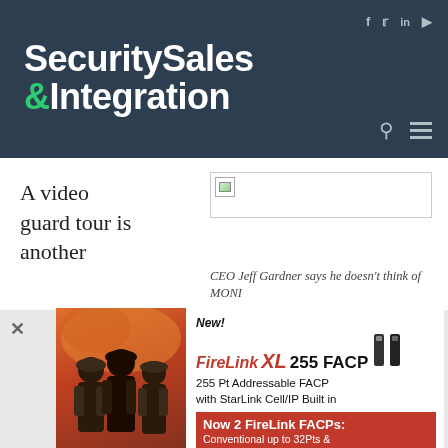Security Sales & Integration
A video guard tour is another
[Figure (photo): Broken image placeholder (image failed to load)]
CEO Jeff Gardner says he doesn't think of MONI
[Figure (advertisement): FireLink XL 255 FACP advertisement. New! FireLink XL 255 FACP. 255 Pt Addressable FACP with StarLink Cell/IP Built in. Now 2 FireLink FACPs: Conventional up to 32Pts & New XL 255 Addressable Pts. Shows firefighters on left side.]